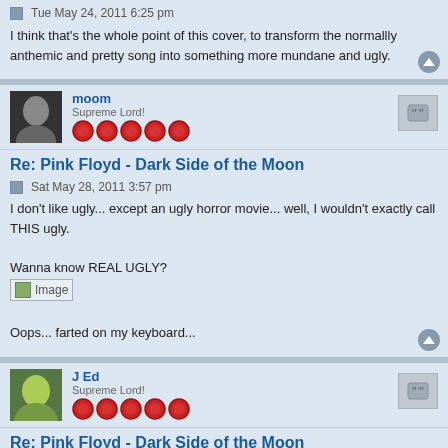Tue May 24, 2011 6:25 pm
I think that's the whole point of this cover, to transform the normallly anthemic and pretty song into something more mundane and ugly.
moom
Supreme Lord!
Re: Pink Floyd - Dark Side of the Moon
Sat May 28, 2011 3:57 pm
I don't like ugly... except an ugly horror movie... well, I wouldn't exactly call THIS ugly.

Wanna know REAL UGLY?
[Image]

Oops... farted on my keyboard...
J Ed
Supreme Lord!
Re: Pink Floyd - Dark Side of the Moon
Wed Jul 27, 2011 1:54 am